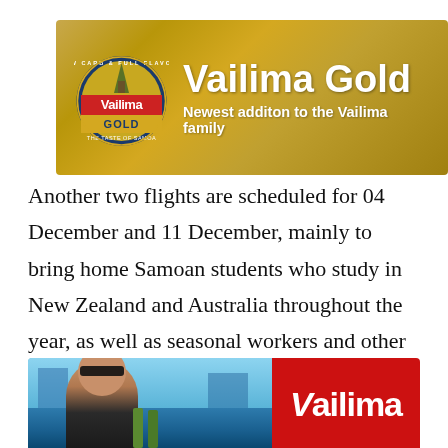[Figure (illustration): Vailima Gold beer advertisement banner with golden textured background. Shows the Vailima Gold circular logo on the left and large white bold text 'Vailima Gold' with subtitle 'Newest additon to the Vailima family' on the right.]
Another two flights are scheduled for 04 December and 11 December, mainly to bring home Samoan students who study in New Zealand and Australia throughout the year, as well as seasonal workers and other citizens of Samoa.
[Figure (photo): Bottom advertisement banner split into two parts: left side shows a photo of a Samoan woman wearing sunglasses and a flower in her hair with Vailima beer bottles; right side shows red background with white Vailima logo text.]